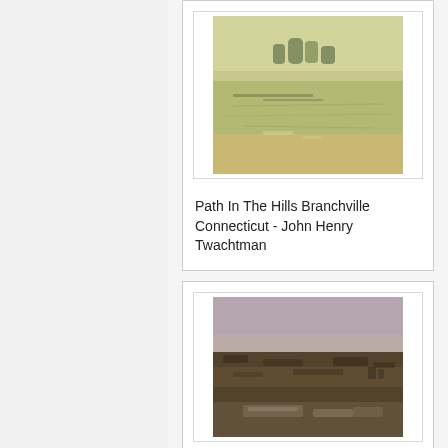[Figure (illustration): Painting thumbnail: Path In The Hills Branchville Connecticut by John Henry Twachtman - a green landscape with trees]
Path In The Hills Branchville Connecticut - John Henry Twachtman
[Figure (illustration): Painting thumbnail: The Heath with a Wheelbarrow by Vincent Van Gogh - dark moorland landscape with pinkish sky]
The Heath with a Wheelbarrow - Vincent Van Gogh